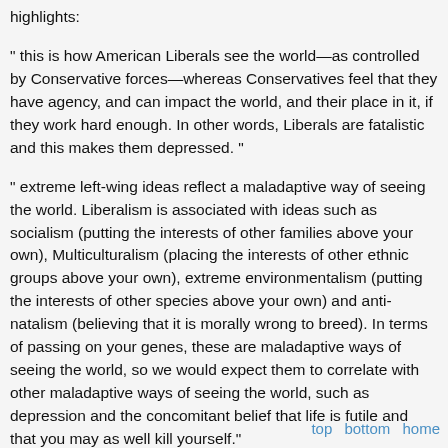highlights:
" this is how American Liberals see the world—as controlled by Conservative forces—whereas Conservatives feel that they have agency, and can impact the world, and their place in it, if they work hard enough. In other words, Liberals are fatalistic and this makes them depressed. "
" extreme left-wing ideas reflect a maladaptive way of seeing the world. Liberalism is associated with ideas such as socialism (putting the interests of other families above your own), Multiculturalism (placing the interests of other ethnic groups above your own), extreme environmentalism (putting the interests of other species above your own) and anti-natalism (believing that it is morally wrong to breed). In terms of passing on your genes, these are maladaptive ways of seeing the world, so we would expect them to correlate with other maladaptive ways of seeing the world, such as depression and the concomitant belief that life is futile and that you may as well kill yourself."
" this would be in line with evidence that being atheistic is associated with mutant genes whi
top   bottom   home